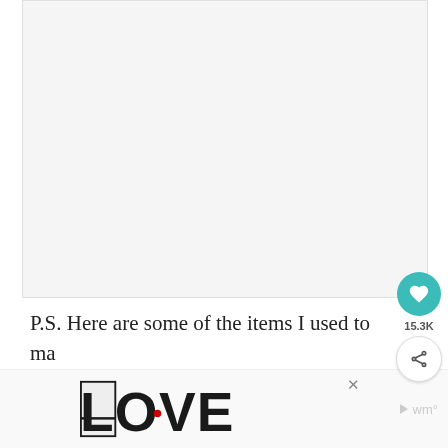[Figure (photo): Large image placeholder area, light gray background, mostly blank/white content area above the text]
P.S. Here are some of the items I used to make this recipe if you'd like to use them too:
[Figure (other): Advertisement banner at the bottom with LOVE logo in decorative illustrated letters with a red heart detail, and a brand watermark on the right]